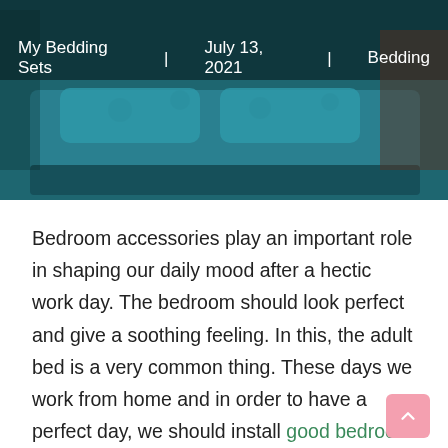[Figure (photo): Bedroom scene showing a bed with teal/blue bedding and decorative pillows, partially visible headboard and side tables in background]
My Bedding Sets | July 13, 2021 | Bedding
Bedroom accessories play an important role in shaping our daily mood after a hectic work day. The bedroom should look perfect and give a soothing feeling. In this, the adult bed is a very common thing. These days we work from home and in order to have a perfect day, we should install good bedroom accessories like bedroom floor lamps, couches, and many other things.
Sooner or later in your life, you presumably figured out how to make a bed. Perhaps a parent taught you,